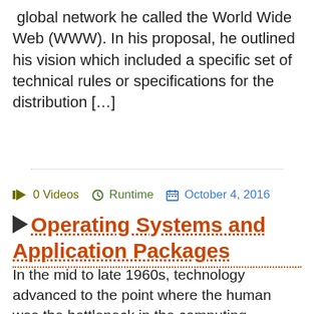global network he called the World Wide Web (WWW). In his proposal, he outlined his vision which included a specific set of technical rules or specifications for the distribution […]
🎬 0 Videos  ⏱ Runtime  📅 October 4, 2016
▶ Operating Systems and Application Packages
In the mid to late 1960s, technology advanced to the point where the human was the bottleneck in the computing process. It took time for the computer operator to prepare and load the next job. The tasks of loading the various programs, linking the programs